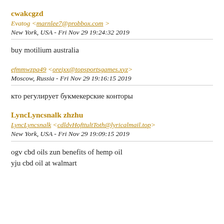cwakcgzd
Evatog <marnlee7@probbox.com >
New York, USA - Fri Nov 29 19:24:32 2019
buy motilium australia
efmmwzpa49 <orejxx@topsportsgames.xyz>
Moscow, Russia - Fri Nov 29 19:16:15 2019
кто регулирует букмекерские конторы
LyncLyncsnalk zhzhu
LyncLyncsnalk <cdldvHofttultToth@lyricalmail.top>
New York, USA - Fri Nov 29 19:09:15 2019
ogv cbd oils zun benefits of hemp oil
yju cbd oil at walmart